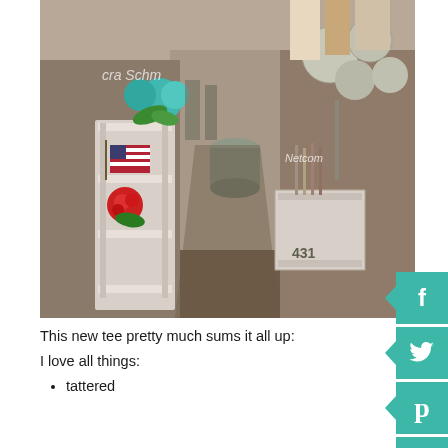[Figure (photo): Interior of a rustic/antique store showing a wide aisle with white painted furniture, decorative items including floral arrangements with American flags, garden decorations, wooden crates, metal buckets, and various vintage items on display. Social media buttons (Facebook, Twitter, Pinterest, Instagram) visible on the right side as an overlay panel in teal color.]
This new tee pretty much sums it all up:
I love all things:
tattered